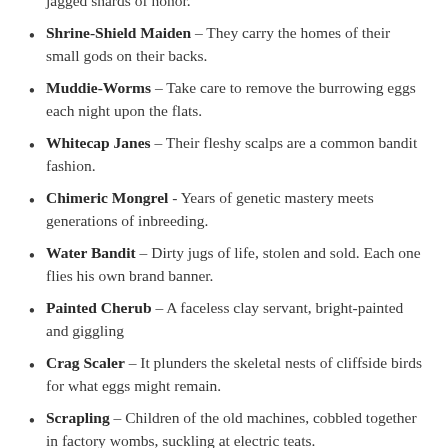jagged shards of honor.
Shrine-Shield Maiden – They carry the homes of their small gods on their backs.
Muddie-Worms – Take care to remove the burrowing eggs each night upon the flats.
Whitecap Janes – Their fleshy scalps are a common bandit fashion.
Chimeric Mongrel - Years of genetic mastery meets generations of inbreeding.
Water Bandit – Dirty jugs of life, stolen and sold. Each one flies his own brand banner.
Painted Cherub – A faceless clay servant, bright-painted and giggling
Crag Scaler – It plunders the skeletal nests of cliffside birds for what eggs might remain.
Scrapling – Children of the old machines, cobbled together in factory wombs, suckling at electric teats.
Aborted Ascendant – Not all pilgrims reach the